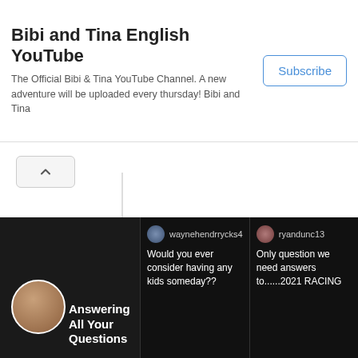Bibi and Tina English YouTube — The Official Bibi & Tina YouTube Channel. A new adventure will be uploaded every thursday! Bibi and Tina — Subscribe
owned a racetrack, it was called the World Championship Snowmobile Derby. He recently sold it a couple of years ago.

“I grew up at that track. My mom told me – when she was pregnant with me, her exercise was walking around the perimeter of the property and walking around the track.”
[Figure (screenshot): YouTube video thumbnail showing a blonde woman with title 'Answering All Your Questions' and two comment panels: waynehendrrycks4 asking 'Would you ever consider having any kids someday??' and ryandunc13 asking 'Only question we need answers to.....2021 RACING']